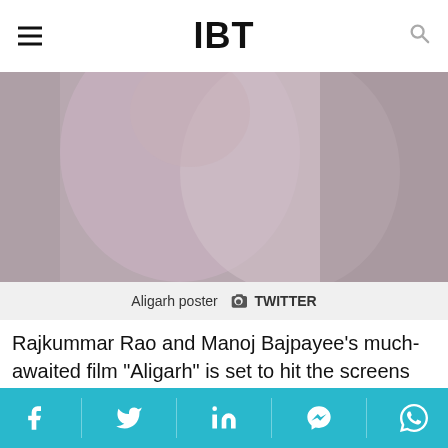IBT
[Figure (photo): Aligarh movie poster showing two people embracing, cropped view with a building in background]
Aligarh poster 📷 TWITTER
Rajkummar Rao and Manoj Bajpayee's much-awaited film "Aligarh" is set to hit the screens on Feb. 26. The film has shed light on a serious issue and the flick will see Manoj as a gay professor and Rajkummar as a journalist.
Directed by Hansal Mehta, "Aligarh" is a true story based on Dr. Shrinivas Ramchandra Siras
Social share bar: Facebook, Twitter, LinkedIn, Messenger, WhatsApp